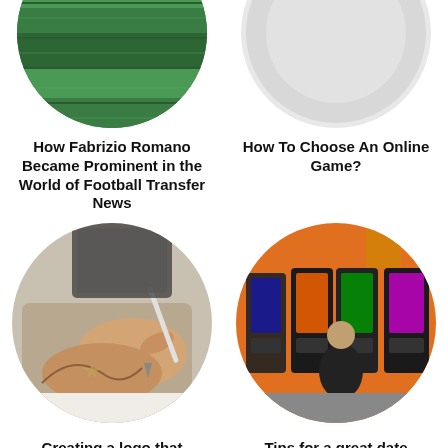[Figure (photo): Circular cropped photo of a green football/soccer field grass, partially visible at top]
[Figure (photo): Circular cropped photo with light grey/white background, partially visible at top]
How Fabrizio Romano Became Prominent in the World of Football Transfer News
How To Choose An Online Game?
[Figure (photo): Circular cropped photo of hands drawing/writing on a tablet with a stylus pen]
[Figure (photo): Circular cropped photo of a man sitting at arcade/slot machines in an orange-walled room]
Creating a logo that
Tips for a great date